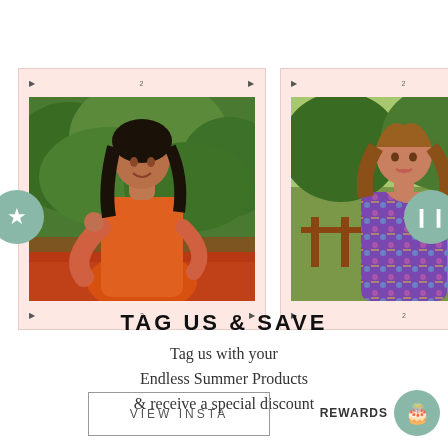[Figure (photo): Two film-strip style photographs side by side. Left photo shows a woman in orange clothing with dark hair in front of green foliage. Right photo shows a woman in colorful patterned clothing with wavy hair in front of green trees. Both strips have 'KODAK PORTA 400' text and the number '2' on the borders, styled as analog film negatives with a pink border.]
TAG US & SAVE
Tag us with your Endless Summer Products & receive a special discount
VIEW INSTA
REWARDS